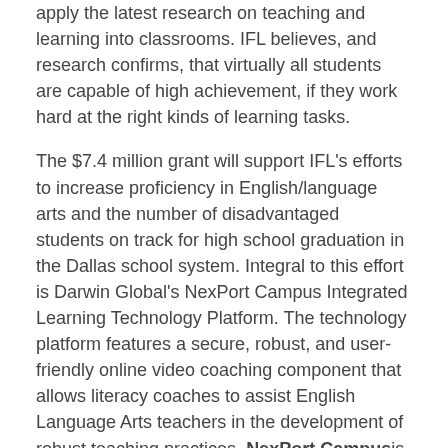apply the latest research on teaching and learning into classrooms. IFL believes, and research confirms, that virtually all students are capable of high achievement, if they work hard at the right kinds of learning tasks.
The $7.4 million grant will support IFL's efforts to increase proficiency in English/language arts and the number of disadvantaged students on track for high school graduation in the Dallas school system. Integral to this effort is Darwin Global's NexPort Campus Integrated Learning Technology Platform. The technology platform features a secure, robust, and user-friendly online video coaching component that allows literacy coaches to assist English Language Arts teachers in the development of robust teaching practices. NexPort Campus is the same platform used by SHCOE's high school programs.
Noted philanthropist and SHCOE Chairman, Dr. Richard Goldman, is also a University of Pittsburgh alumnus. He stated,
“Darwin Global’s state-of-the-art technology platform is an ideal solution for delivering IFL’s educational services.”
According to Ed Week, the goal of the Gates Foundation grants is to coordinate networks of schools to address specific problems